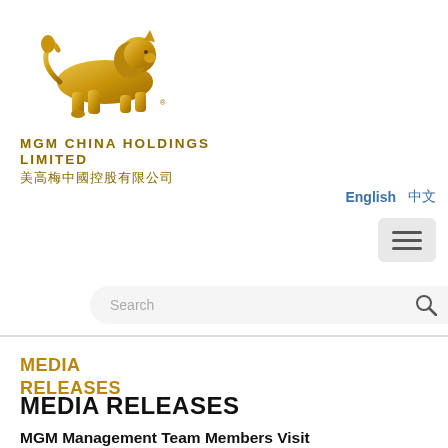[Figure (logo): MGM China Holdings Limited golden lion logo with English text 'MGM CHINA HOLDINGS LIMITED' and Chinese text '美高梅中國控股有限公司']
English  中文
[Figure (other): Hamburger menu button (three horizontal lines) on grey background]
[Figure (other): Search bar with placeholder text 'Search' and search icon]
MEDIA RELEASES
MEDIA RELEASES
MGM Management Team Members Visit Exhibitions of CPC History…